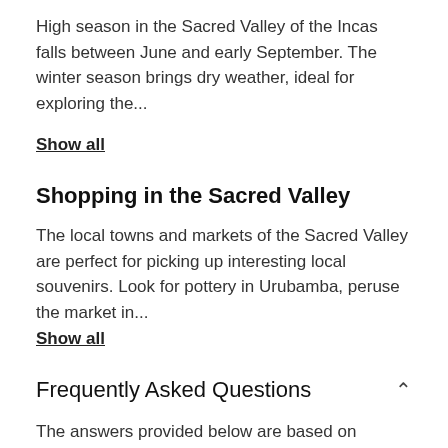High season in the Sacred Valley of the Incas falls between June and early September. The winter season brings dry weather, ideal for exploring the...
Show all
Shopping in the Sacred Valley
The local towns and markets of the Sacred Valley are perfect for picking up interesting local souvenirs. Look for pottery in Urubamba, peruse the market in...
Show all
Frequently Asked Questions
The answers provided below are based on answers previously given by the tour provider to customers' questions...